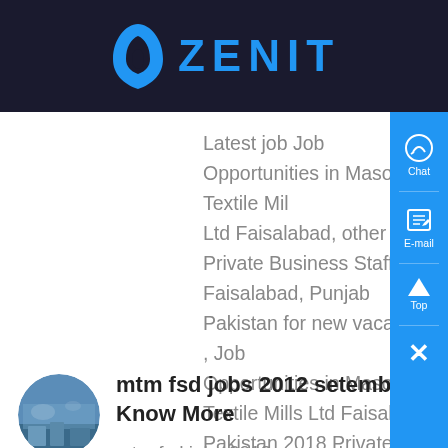[Figure (logo): Zenit logo with blue arch/chevron symbol and ZENIT text on dark background header bar]
Latest job Job Opportunities in Masood Textile Mills Ltd Faisalabad, other jobs, Private Business Staff in Faisalabad, Punjab Pakistan for new vacancies , Job Opportunities in Masood Textile Mills Ltd Faisalabad Pakistan 2018 Private , Now i want to jobs in MTM for better future Give me a chance to prove myself Thanks...
[Figure (photo): Small circular thumbnail photo showing a landscape/cityscape scene]
mtm fsd jobs 2012 setembro - Know More
mtm fsd jobs 2012 september Advisory Admin As a leading global manufacturer of crushing, grinding and mining equipments We can provide you the complete stone ....